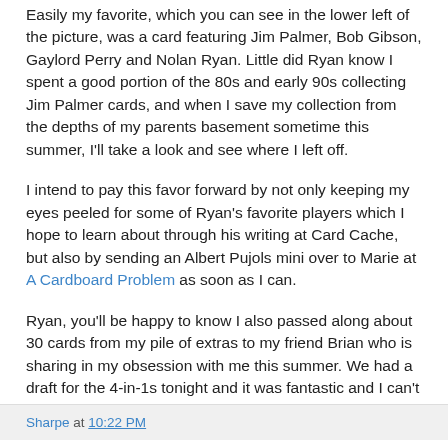Easily my favorite, which you can see in the lower left of the picture, was a card featuring Jim Palmer, Bob Gibson, Gaylord Perry and Nolan Ryan. Little did Ryan know I spent a good portion of the 80s and early 90s collecting Jim Palmer cards, and when I save my collection from the depths of my parents basement sometime this summer, I'll take a look and see where I left off.
I intend to pay this favor forward by not only keeping my eyes peeled for some of Ryan's favorite players which I hope to learn about through his writing at Card Cache, but also by sending an Albert Pujols mini over to Marie at A Cardboard Problem as soon as I can.
Ryan, you'll be happy to know I also passed along about 30 cards from my pile of extras to my friend Brian who is sharing in my obsession with me this summer. We had a draft for the 4-in-1s tonight and it was fantastic and I can't thank you enough.
Sharpe at 10:22 PM